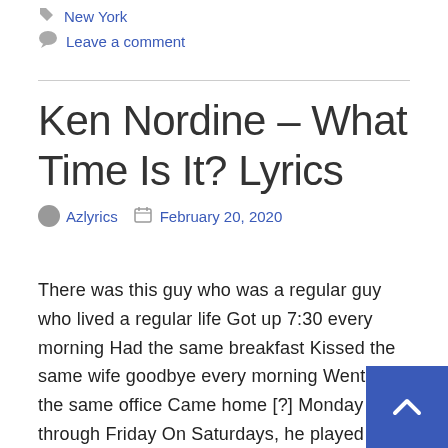New York
Leave a comment
Ken Nordine – What Time Is It? Lyrics
Azlyrics   February 20, 2020
There was this guy who was a regular guy who lived a regular life Got up 7:30 every morning Had the same breakfast Kissed the same wife goodbye every morning Went to the same office Came home [?] Monday through Friday On Saturdays, he played with the children, did some handywork around the house Sundays, he